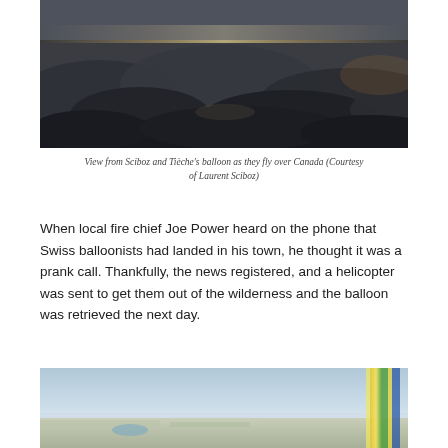[Figure (photo): Aerial view from a balloon flying over Canada, showing dramatic dark cloud formations below with light breaking through on the horizon.]
View from Sciboz and Tièche's balloon as they fly over Canada (Courtesy of Laurent Sciboz)
When local fire chief Joe Power heard on the phone that Swiss balloonists had landed in his town, he thought it was a prank call. Thankfully, the news registered, and a helicopter was sent to get them out of the wilderness and the balloon was retrieved the next day.
[Figure (photo): Aerial view from a balloon showing flat landscape below with a colorful balloon rope/envelope visible on the right edge.]